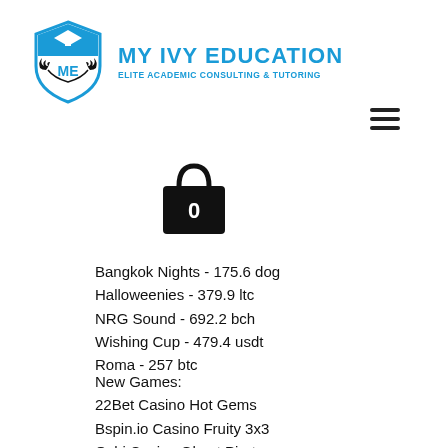[Figure (logo): My Ivy Education shield logo with graduation cap and laurel wreath, blue and black colors]
MY IVY EDUCATION
ELITE ACADEMIC CONSULTING & TUTORING
[Figure (illustration): Hamburger menu icon (three horizontal lines)]
[Figure (illustration): Shopping bag icon with number 0]
Bangkok Nights - 175.6 dog
Halloweenies - 379.9 ltc
NRG Sound - 692.2 bch
Wishing Cup - 479.4 usdt
Roma - 257 btc
New Games:
22Bet Casino Hot Gems
Bspin.io Casino Fruity 3x3
Oshi Casino Ghost Pirates